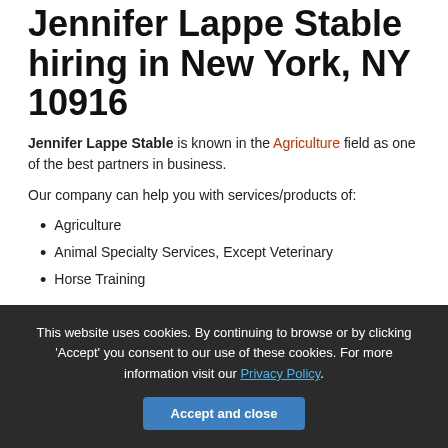Jennifer Lappe Stable hiring in New York, NY 10916
Jennifer Lappe Stable is known in the Agriculture field as one of the best partners in business.
Our company can help you with services/products of:
Agriculture
Animal Specialty Services, Except Veterinary
Horse Training
This website uses cookies. By continuing to browse or by clicking 'Accept' you consent to our use of these cookies. For more information visit our Privacy Policy.
Accept and close